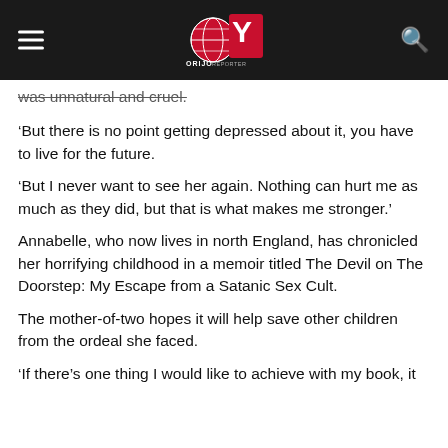Orijo Reporter navigation bar
was unnatural and cruel.
‘But there is no point getting depressed about it, you have to live for the future.
‘But I never want to see her again. Nothing can hurt me as much as they did, but that is what makes me stronger.’
Annabelle, who now lives in north England, has chronicled her horrifying childhood in a memoir titled The Devil on The Doorstep: My Escape from a Satanic Sex Cult.
The mother-of-two hopes it will help save other children from the ordeal she faced.
‘If there’s one thing I would like to achieve with my book, it